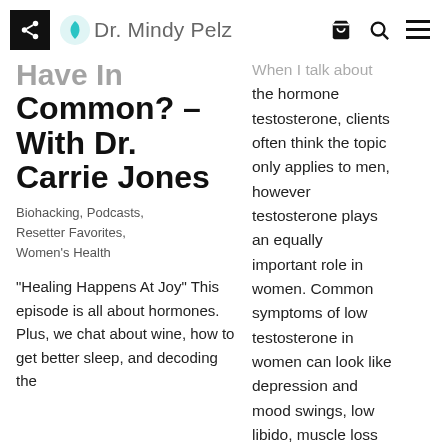Dr. Mindy Pelz
Have In Common? – With Dr. Carrie Jones
Biohacking, Podcasts, Resetter Favorites, Women's Health
"Healing Happens At Joy" This episode is all about hormones. Plus, we chat about wine, how to get better sleep, and decoding the
When I talk about the hormone testosterone, clients often think the topic only applies to men, however testosterone plays an equally important role in women. Common symptoms of low testosterone in women can look like depression and mood swings, low libido, muscle loss